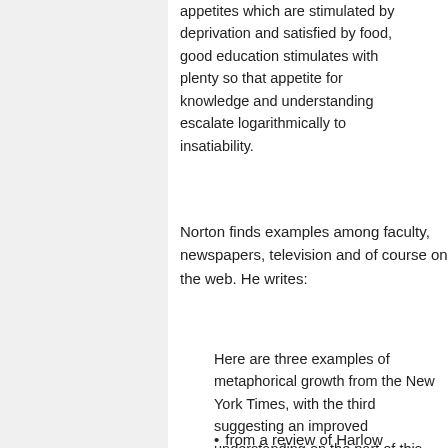appetites which are stimulated by deprivation and satisfied by food, good education stimulates with plenty so that appetite for knowledge and understanding escalate logarithmically to insatiability.
Norton finds examples among faculty, newspapers, television and of course on the web. He writes:
Here are three examples of metaphorical growth from the New York Times, with the third suggesting an improved understanding on the part of this newspaper:
from a review of Harlow